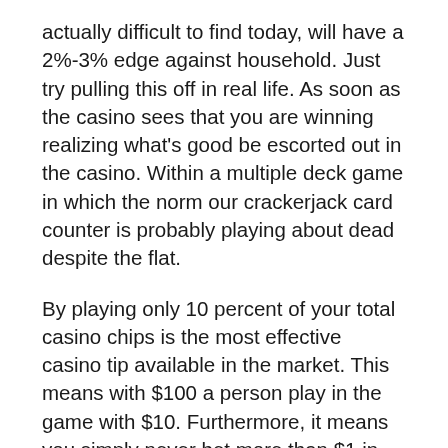actually difficult to find today, will have a 2%-3% edge against household. Just try pulling this off in real life. As soon as the casino sees that you are winning realizing what's good be escorted out in the casino. Within a multiple deck game in which the norm our crackerjack card counter is probably playing about dead despite the flat.
By playing only 10 percent of your total casino chips is the most effective casino tip available in the market. This means with $100 a person play in the game with $10. Furthermore, it means you simply never bet more than $1 in any given side bet. That means for a slot spin probably a roulette spin, no more than $1, ever in your life.